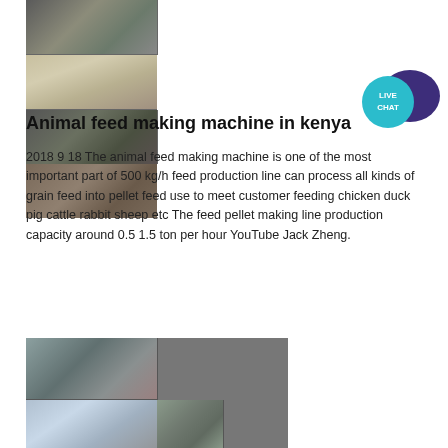[Figure (photo): Collage of 4 photos showing animal feed making machine equipment and facilities]
[Figure (illustration): Live Chat badge icon — teal speech bubble with 'LIVE CHAT' text and dark purple speech bubble]
Animal feed making machine in kenya
2018 9 18 The animal feed making machine is one of the most important part of 500 kg/h feed production line can process all kinds of grain feed into pellet feed use to meet customer feeding chicken duck pig cattle rabbit sheep etc The feed pellet making line production capacity around 0.5 1.5 ton per hour YouTube Jack Zheng.
[Figure (illustration): Blue button with white text reading 'Chat Online']
[Figure (photo): Collage of 4 photos showing feed making machine facilities and industrial equipment]